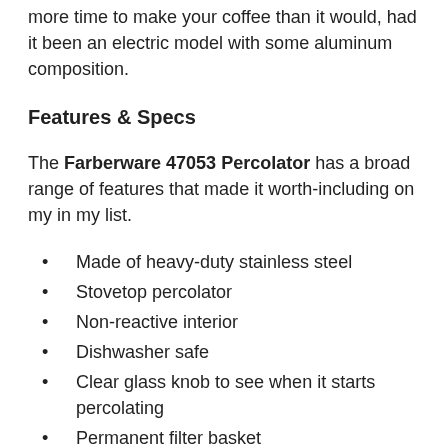more time to make your coffee than it would, had it been an electric model with some aluminum composition.
Features & Specs
The Farberware 47053 Percolator has a broad range of features that made it worth-including on my in my list.
Made of heavy-duty stainless steel
Stovetop percolator
Non-reactive interior
Dishwasher safe
Clear glass knob to see when it starts percolating
Permanent filter basket